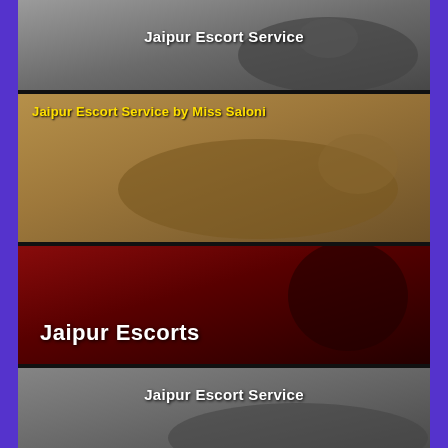[Figure (photo): Photo of woman in black lingerie lying on bed with white text overlay 'Jaipur Escort Service']
[Figure (photo): Photo of woman lying on floor with yellow bold text overlay 'Jaipur Escort Service by Miss Saloni']
[Figure (photo): Photo of woman in dark red lighting with large white bold text overlay 'Jaipur Escorts']
[Figure (photo): Photo of woman in dark grey background with white text overlay 'Jaipur Escort Service']